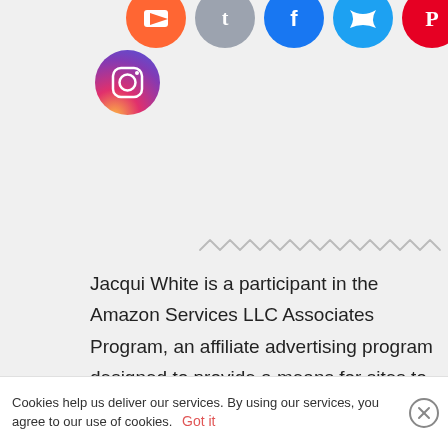[Figure (illustration): Partial row of social media icons at top (YouTube, Tumblr, Facebook, Twitter, Pinterest in circles) and Instagram icon below]
[Figure (illustration): Zigzag decorative divider line]
Jacqui White is a participant in the Amazon Services LLC Associates Program, an affiliate advertising program designed to provide a means for sites to earn advertising fees by advertising and linking to amazon.com
[Figure (illustration): Zigzag decorative divider line (bottom)]
Cookies help us deliver our services. By using our services, you agree to our use of cookies.  Got it